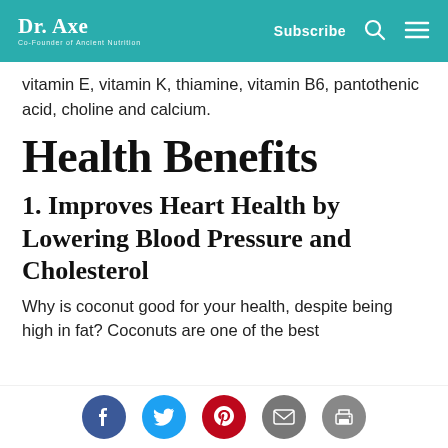Dr. Axe Co-Founder of Ancient Nutrition | Subscribe
vitamin E, vitamin K, thiamine, vitamin B6, pantothenic acid, choline and calcium.
Health Benefits
1. Improves Heart Health by Lowering Blood Pressure and Cholesterol
Why is coconut good for your health, despite being high in fat? Coconuts are one of the best
[Figure (other): Social sharing buttons: Facebook, Twitter, Pinterest, Email, Print]